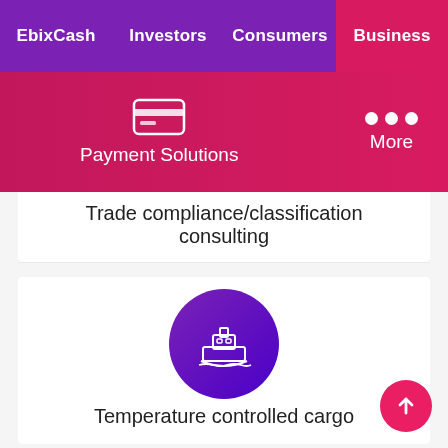EbixCash | Investors | Consumers | Business
[Figure (screenshot): Navigation sub-bar with Payment Solutions icon and More option on red/pink gradient background]
Trade compliance/classification consulting
[Figure (illustration): Purple gradient circle with white ship/cargo vessel icon]
Temperature controlled cargo
[Figure (illustration): Purple gradient circle with white clock/speed icon (partially visible)]